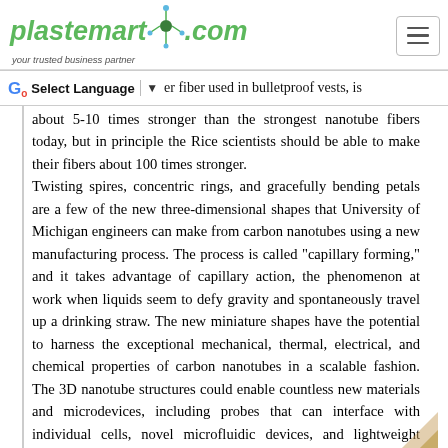plastemart.com — your trusted business partner
er fiber used in bulletproof vests, is about 5-10 times stronger than the strongest nanotube fibers today, but in principle the Rice scientists should be able to make their fibers about 100 times stronger. Twisting spires, concentric rings, and gracefully bending petals are a few of the new three-dimensional shapes that University of Michigan engineers can make from carbon nanotubes using a new manufacturing process. The process is called "capillary forming," and it takes advantage of capillary action, the phenomenon at work when liquids seem to defy gravity and spontaneously travel up a drinking straw. The new miniature shapes have the potential to harness the exceptional mechanical, thermal, electrical, and chemical properties of carbon nanotubes in a scalable fashion. The 3D nanotube structures could enable countless new materials and microdevices, including probes that can interface with individual cells, novel microfluidic devices, and lightweight materials for aircraft and spacecraft. Assembling